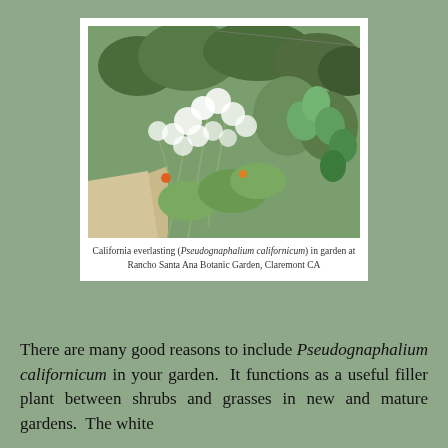[Figure (photo): Photo of California everlasting (Pseudognaphalium californicum) in garden at Rancho Santa Ana Botanic Garden, Claremont CA. Shows white flowering plants among cacti and green shrubs.]
California everlasting (Pseudognaphalium californicum) in garden at Rancho Santa Ana Botanic Garden, Claremont CA
There are many good reasons to include Pseudognaphalium californicum in your garden. It functions as a useful filler plant between shrubs and grasses in new and mature gardens. The white